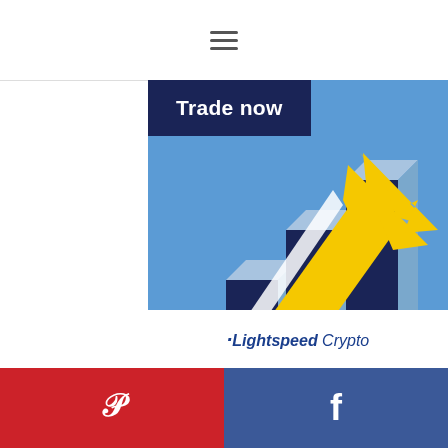☰
[Figure (illustration): Lightspeed Crypto trading advertisement. Dark navy and blue background with 3D rising bar chart columns in steel blue, a large yellow upward arrow, and a small trading chart widget in the lower center. 'Trade now' button in dark navy at top. 'Lightspeed Crypto' italic branding at bottom.]
Pinterest | Facebook social share buttons